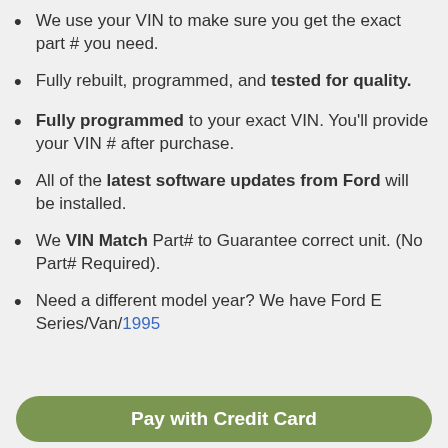We use your VIN to make sure you get the exact part # you need.
Fully rebuilt, programmed, and tested for quality.
Fully programmed to your exact VIN. You'll provide your VIN # after purchase.
All of the latest software updates from Ford will be installed.
We VIN Match Part# to Guarantee correct unit. (No Part# Required).
Need a different model year? We have Ford E Series/Van/PM/PM from model year 1995…
Pay with Credit Card